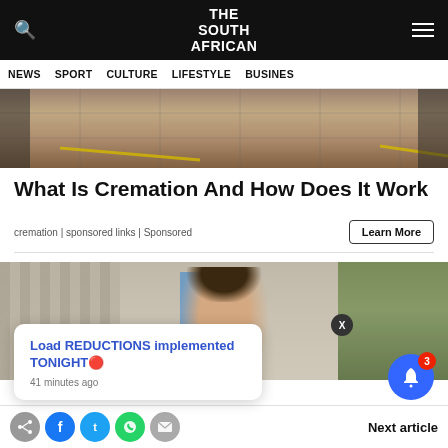THE SOUTH AFRICAN
NEWS | SPORT | CULTURE | LIFESTYLE | BUSINES
[Figure (photo): Top portion of article image — train platform or station tiles with yellow markings]
What Is Cremation And How Does It Work
cremation | sponsored links | Sponsored
[Figure (photo): Woman smiling outdoors in front of building and trees]
Load REDUCTIONS implemented TONIGHT🔴
41 minutes ago
Next article